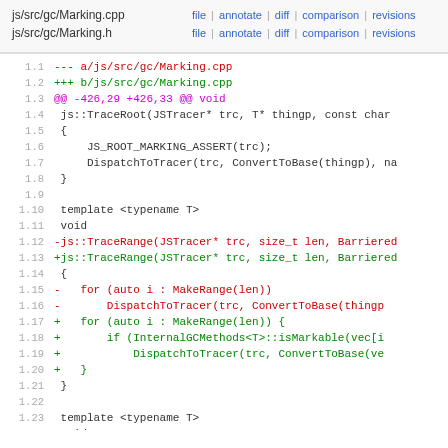js/src/gc/Marking.cpp  file | annotate | diff | comparison | revisions
js/src/gc/Marking.h    file | annotate | diff | comparison | revisions
[Figure (screenshot): Code diff view showing changes to js/src/gc/Marking.cpp, including diff header lines, context lines showing TraceRoot and TraceRange functions, with red (removed) and green (added) lines indicating modifications to loop logic adding isMarkable check before DispatchToTracer.]